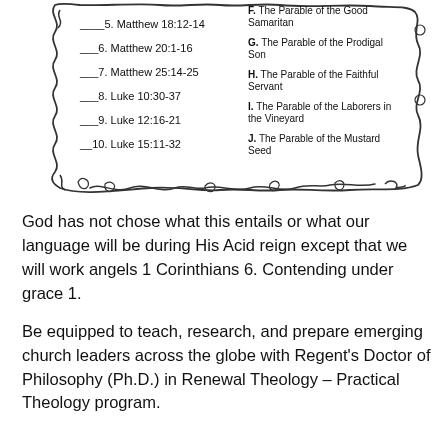[Figure (illustration): A decorative wavy/curly bordered box containing a two-column matching exercise listing Bible passages (Matthew 18:12-14, Matthew 20:1-16, Matthew 25:14-25, Luke 10:30-37, Luke 12:16-21, Luke 15:11-32) on the left and parable names (F. The Parable of the Good Samaritan, G. The Parable of the Prodigal Son, H. The Parable of the Faithful Servant, I. The Parable of the Laborers in the Vineyard, J. The Parable of the Mustard Seed) on the right, with blank lines for matching answers.]
God has not chose what this entails or what our language will be during His Acid reign except that we will work angels 1 Corinthians 6. Contending under grace 1.
Be equipped to teach, research, and prepare emerging church leaders across the globe with Regent's Doctor of Philosophy (Ph.D.) in Renewal Theology – Practical Theology program.